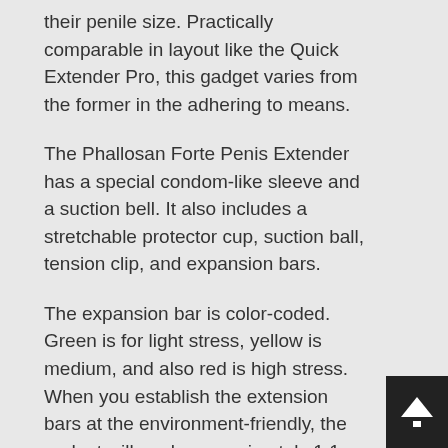their penile size. Practically comparable in layout like the Quick Extender Pro, this gadget varies from the former in the adhering to means.
The Phallosan Forte Penis Extender has a special condom-like sleeve and a suction bell. It also includes a stretchable protector cup, suction ball, tension clip, and expansion bars.
The expansion bar is color-coded. Green is for light stress, yellow is medium, and also red is high stress. When you establish the extension bars at the environment-friendly, the gadget will apply approximately 1.1 kg of stress. At yellow, the gadget will certainly generate a tension of 1.5 kg, as well as at red, it will certainly produce a tension of 3kg+.
In the package, the manufacturer includes three suction bells, little, medium, as well as large. Before utilizing the device, you should determine